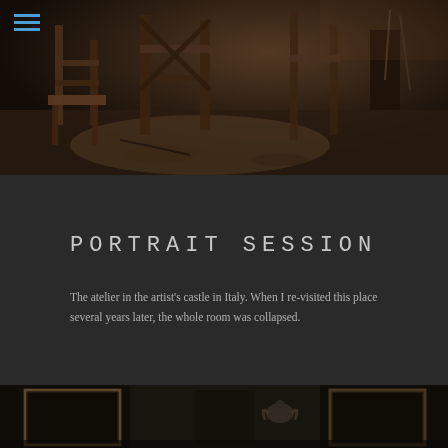[Figure (photo): Dark atmospheric photo of an artist's atelier/workshop interior with wooden chairs and scaffolding, rustic and abandoned-looking setting, Italy]
PORTRAIT SESSION
The atelier in the artist's castle in Italy. When I re-visited this place several years later, the whole room was collapsed.
[Figure (photo): Dark partial photo at bottom showing ornate framed artworks and a decorative eagle or bird figurine, on a dark wooden surface]